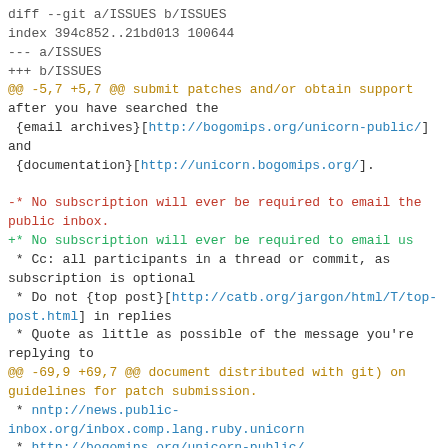diff --git a/ISSUES b/ISSUES
index 394c852..21bd013 100644
--- a/ISSUES
+++ b/ISSUES
@@ -5,7 +5,7 @@ submit patches and/or obtain support
after you have searched the
 {email archives}[http://bogomips.org/unicorn-public/]
and
 {documentation}[http://unicorn.bogomips.org/].

-* No subscription will ever be required to email the
public inbox.
+* No subscription will ever be required to email us
 * Cc: all participants in a thread or commit, as
subscription is optional
 * Do not {top post}[http://catb.org/jargon/html/T/top-
post.html] in replies
 * Quote as little as possible of the message you're
replying to
@@ -69,9 +69,7 @@ document distributed with git) on
guidelines for patch submission.
 * nntp://news.public-
inbox.org/inbox.comp.lang.ruby.unicorn
 * http://bogomips.org/unicorn-public/

-We operate a {public-inbox}[http://public-inbox.org/]
which
-feeds the mailing list.  Subscription is optional, so
Cc:
-all participants.